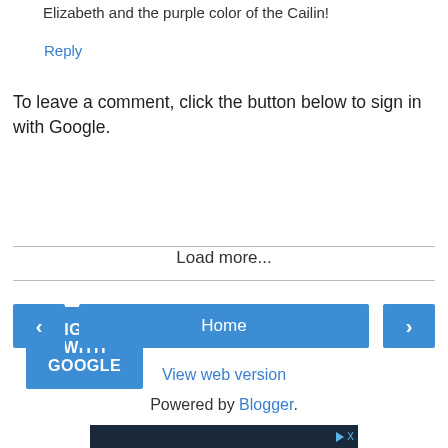Elizabeth and the purple color of the Cailin!
Reply
To leave a comment, click the button below to sign in with Google.
[Figure (screenshot): Blue button labeled SIGN IN WITH GOOGLE]
Load more...
[Figure (screenshot): Navigation bar with left arrow button, Home button, and right arrow button]
View web version
Powered by Blogger.
[Figure (screenshot): Advertisement banner with dark blue background and play/close icons]